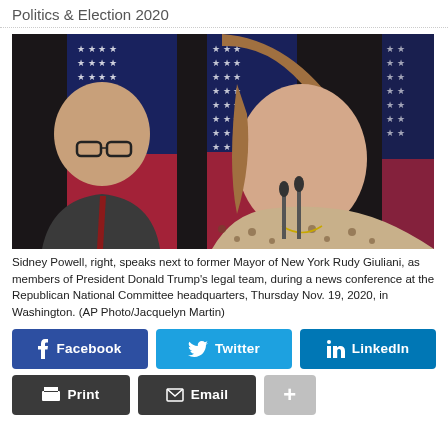Politics & Election 2020
[Figure (photo): Sidney Powell, right, speaks next to former Mayor of New York Rudy Giuliani, as members of President Donald Trump's legal team, during a news conference at the Republican National Committee headquarters.]
Sidney Powell, right, speaks next to former Mayor of New York Rudy Giuliani, as members of President Donald Trump's legal team, during a news conference at the Republican National Committee headquarters, Thursday Nov. 19, 2020, in Washington. (AP Photo/Jacquelyn Martin)
Facebook  Twitter  LinkedIn  Print  Email  +